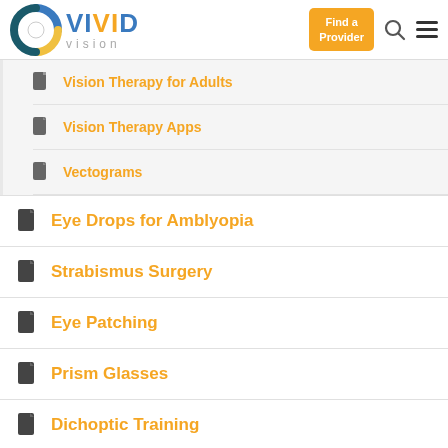[Figure (logo): Vivid Vision logo with circular eye icon and text]
Vision Therapy for Adults
Vision Therapy Apps
Vectograms
Eye Drops for Amblyopia
Strabismus Surgery
Eye Patching
Prism Glasses
Dichoptic Training